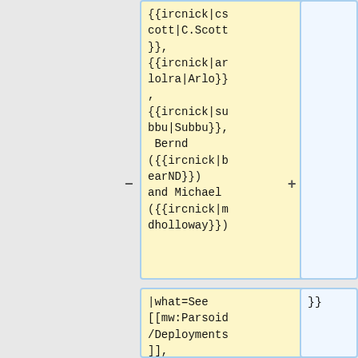{{ircnick|cscott|C.Scott}},
{{ircnick|arlolra|Arlo}},
{{ircnick|subbu|Subbu}},
 Bernd ({{ircnick|bearND}})
and Michael
({{ircnick|mdholloway}})
|what=See
[[mw:Parsoid/Deployments]],
[[OCG/Deployments]],
[[mw:Wikimed
i...
}}